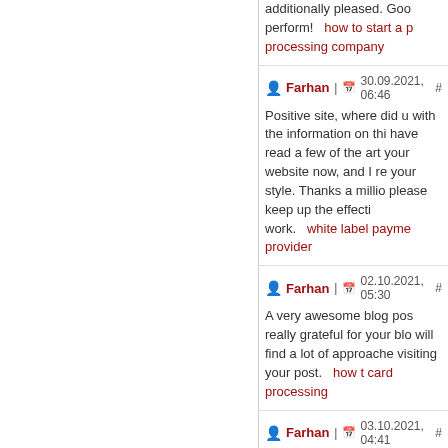additionally pleased. Good perform! how to start a payment processing company
Farhan | 30.09.2021, 06:46 # Positive site, where did u... white label payment provider
Farhan | 02.10.2021, 05:30 # A very awesome blog post... how to card processing
Farhan | 03.10.2021, 04:41 # A very awesome blog po...